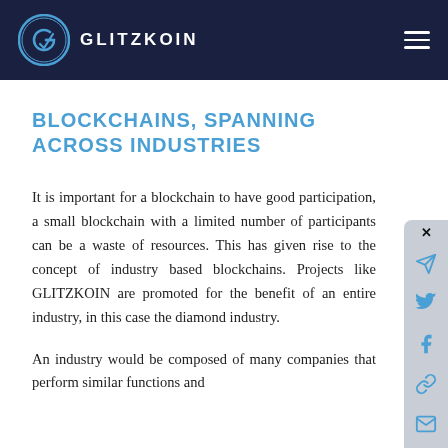GLITZKOIN
BLOCKCHAINS, SPANNING ACROSS INDUSTRIES
It is important for a blockchain to have good participation, a small blockchain with a limited number of participants can be a waste of resources. This has given rise to the concept of industry based blockchains. Projects like GLITZKOIN are promoted for the benefit of an entire industry, in this case the diamond industry.
An industry would be composed of many companies that perform similar functions and